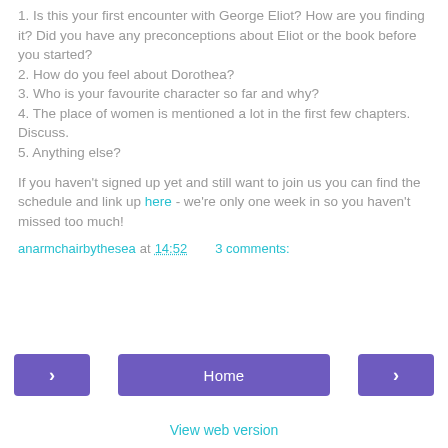1. Is this your first encounter with George Eliot? How are you finding it? Did you have any preconceptions about Eliot or the book before you started?
2. How do you feel about Dorothea?
3. Who is your favourite character so far and why?
4. The place of women is mentioned a lot in the first few chapters. Discuss.
5. Anything else?
If you haven't signed up yet and still want to join us you can find the schedule and link up here - we're only one week in so you haven't missed too much!
anarmchairbythesea at 14:52    3 comments:
Home
View web version